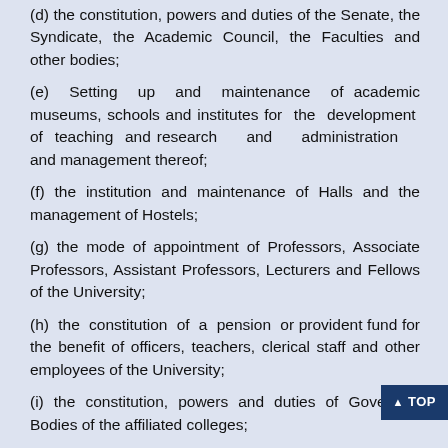(d) the constitution, powers and duties of the Senate, the Syndicate, the Academic Council, the Faculties and other bodies;
(e) Setting up and maintenance of academic museums, schools and institutes for the development of teaching and research and administration and management thereof;
(f) the institution and maintenance of Halls and the management of Hostels;
(g) the mode of appointment of Professors, Associate Professors, Assistant Professors, Lecturers and Fellows of the University;
(h) the constitution of a pension or provident fund for the benefit of officers, teachers, clerical staff and other employees of the University;
(i) the constitution, powers and duties of Governing Bodies of the affiliated colleges;